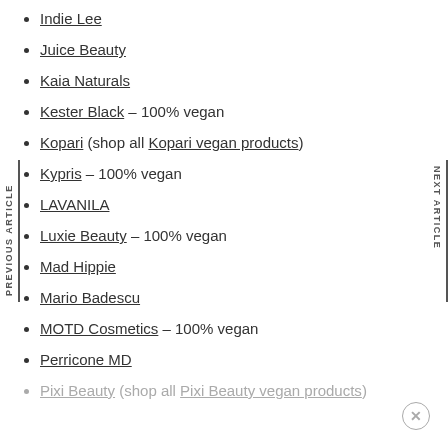Indie Lee
Juice Beauty
Kaia Naturals
Kester Black – 100% vegan
Kopari (shop all Kopari vegan products)
Kypris – 100% vegan
LAVANILA
Luxie Beauty – 100% vegan
Mad Hippie
Mario Badescu
MOTD Cosmetics – 100% vegan
Perricone MD
Pixi Beauty (shop all Pixi Beauty vegan products)